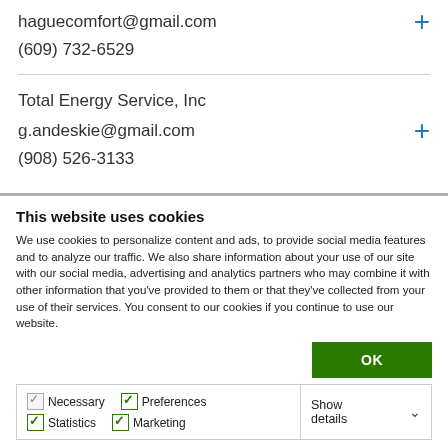haguecomfort@gmail.com
(609) 732-6529
Total Energy Service, Inc
g.andeskie@gmail.com
(908) 526-3133
This website uses cookies
We use cookies to personalize content and ads, to provide social media features and to analyze our traffic. We also share information about your use of our site with our social media, advertising and analytics partners who may combine it with other information that you've provided to them or that they've collected from your use of their services. You consent to our cookies if you continue to use our website.
OK
Necessary  Preferences  Statistics  Marketing  Show details